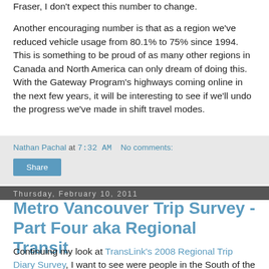Fraser, I don't expect this number to change.
Another encouraging number is that as a region we've reduced vehicle usage from 80.1% to 75% since 1994. This is something to be proud of as many other regions in Canada and North America can only dream of doing this. With the Gateway Program's highways coming online in the next few years, it will be interesting to see if we'll undo the progress we've made in shift travel modes.
Nathan Pachal at 7:32 AM   No comments:
Share
Thursday, February 10, 2011
Metro Vancouver Trip Survey - Part Four aka Regional Transit
Continuing my look at TransLink's 2008 Regional Trip Diary Survey, I want to see were people in the South of the Fraser are heading on transit. 47% of all trips in the region take